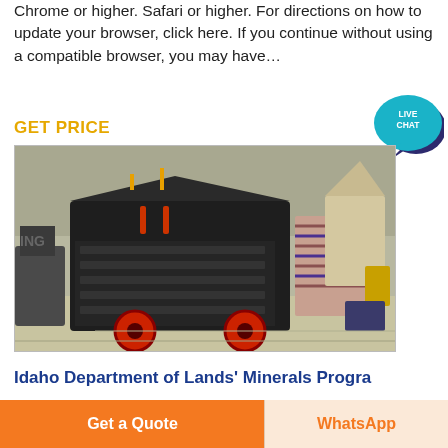Chrome or higher. Safari or higher. For directions on how to update your browser, click here. If you continue without using a compatible browser, you may have…
GET PRICE
[Figure (photo): Industrial impact crusher / hammer mill machine in a factory warehouse setting. Large black heavy machinery on a pallet with red circular wheels visible, surrounded by industrial equipment.]
Idaho Department of Lands' Minerals Progra
Any individual, company or governmental agency tha
Get a Quote
WhatsApp